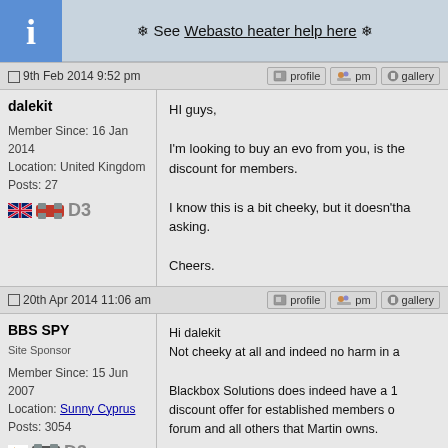❄ See Webasto heater help here ❄
9th Feb 2014 9:52 pm
dalekit
Member Since: 16 Jan 2014
Location: United Kingdom
Posts: 27
D3
HI guys,

I'm looking to buy an evo from you, is there a discount for members.

I know this is a bit cheeky, but it doesn't harm asking.

Cheers.
20th Apr 2014 11:06 am
BBS SPY
Site Sponsor
Member Since: 15 Jun 2007
Location: Sunny Cyprus
Posts: 3054
D3
Hi dalekit
Not cheeky at all and indeed no harm in a...

Blackbox Solutions does indeed have a 1... discount offer for established members of... forum and all others that Martin owns.

The criteria we set for "established" is a m... of Six months membership and Fifty plus... detailed in this document

http://www.blackbox.solutions.com/download...